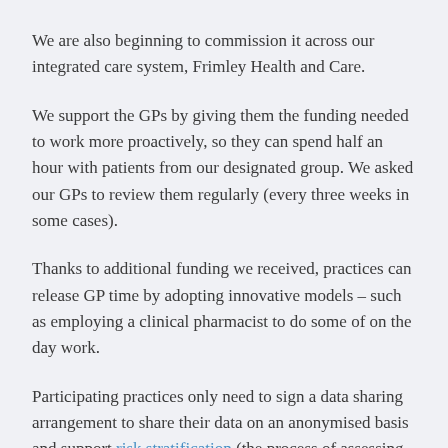We are also beginning to commission it across our integrated care system, Frimley Health and Care.
We support the GPs by giving them the funding needed to work more proactively, so they can spend half an hour with patients from our designated group. We asked our GPs to review them regularly (every three weeks in some cases).
Thanks to additional funding we received, practices can release GP time by adopting innovative models – such as employing a clinical pharmacist to do some of on the day work.
Participating practices only need to sign a data sharing arrangement to share their data on an anonymised basis and support risk stratification (the process of assessing how at risk a patient is). In our case, it was the ACG system that allowed us to make predictions of an individual's health